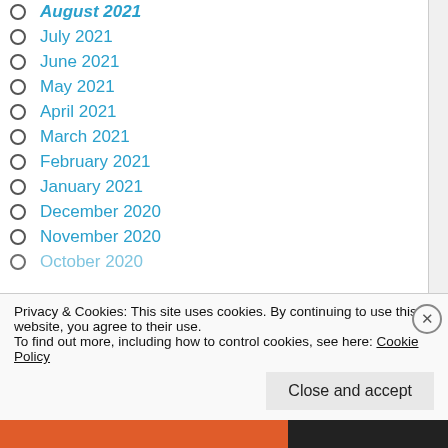August 2021
July 2021
June 2021
May 2021
April 2021
March 2021
February 2021
January 2021
December 2020
November 2020
October 2020
Privacy & Cookies: This site uses cookies. By continuing to use this website, you agree to their use.
To find out more, including how to control cookies, see here: Cookie Policy